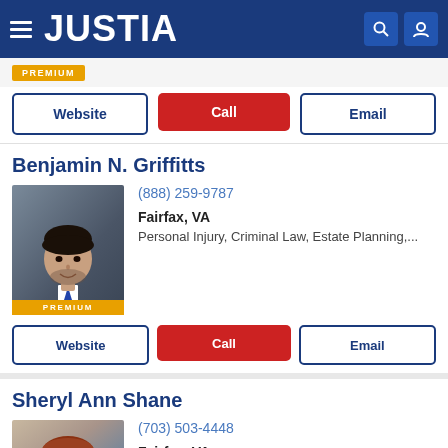JUSTIA
Website | Call | Email
Benjamin N. Griffitts
(888) 259-9787
Fairfax, VA
Personal Injury, Criminal Law, Estate Planning,...
Website | Call | Email
Sheryl Ann Shane
(703) 503-4448
Fairfax, VA
Criminal Law, DUI & DWI, Domestic Violence